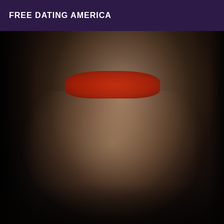FREE DATING AMERICA
[Figure (photo): A person posing in red and black lingerie with high heels against a dark background, showing torso and legs.]